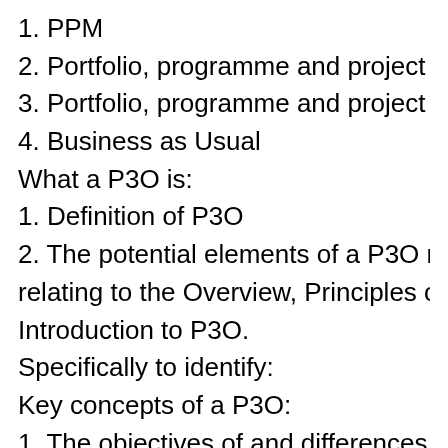1. PPM
2. Portfolio, programme and project
3. Portfolio, programme and project mana
4. Business as Usual
What a P3O is:
1. Definition of P3O
2. The potential elements of a P3O mode
relating to the Overview, Principles of a P
Introduction to P3O.
Specifically to identify:
Key concepts of a P3O:
1. The objectives of and differences betw
2. The objectives of and differences betw